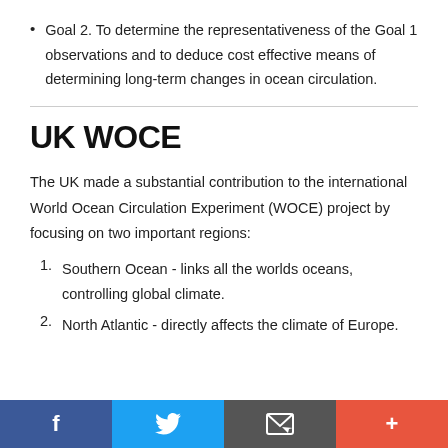Goal 2. To determine the representativeness of the Goal 1 observations and to deduce cost effective means of determining long-term changes in ocean circulation.
UK WOCE
The UK made a substantial contribution to the international World Ocean Circulation Experiment (WOCE) project by focusing on two important regions:
Southern Ocean - links all the worlds oceans, controlling global climate.
North Atlantic - directly affects the climate of Europe.
Share buttons: Facebook, Twitter, Email, Plus